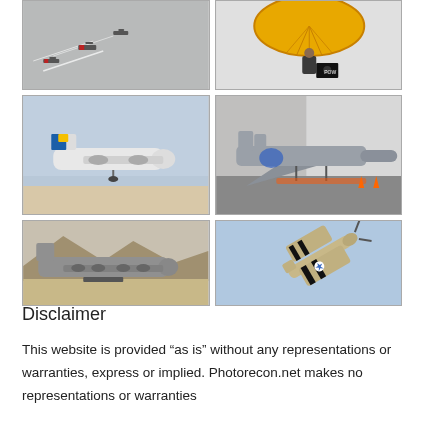[Figure (photo): Grid of 6 aviation/airshow photographs: top-left shows aerobatic planes with smoke trails, top-right shows a parachutist with yellow parachute and POW/MIA flag, middle-left shows a turboprop airliner (Jet Airways livery) in flight, middle-right shows an F/A-18 fighter jet on a tarmac, bottom-left shows a C-130 Hercules transport aircraft on a desert runway, bottom-right shows a P-51 Mustang warbird in flight with invasion stripes.]
Disclaimer
This website is provided “as is” without any representations or warranties, express or implied. Photorecon.net makes no representations or warranties